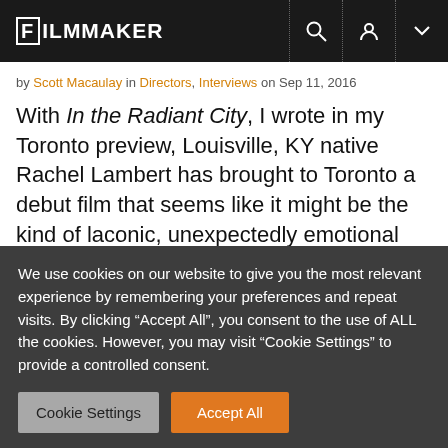FILMMAKER
by Scott Macaulay in Directors, Interviews on Sep 11, 2016
With In the Radiant City, I wrote in my Toronto preview, Louisville, KY native Rachel Lambert has brought to Toronto a debut film that seems like it might be the kind of laconic, unexpectedly emotional regional drama associated with filmmakers like Victor Nunez. Executive produced by Jeff Nichols, In the Radiant City follows a man, Yurley (Michael Abbott, Jr.), estranged from his
We use cookies on our website to give you the most relevant experience by remembering your preferences and repeat visits. By clicking “Accept All”, you consent to the use of ALL the cookies. However, you may visit “Cookie Settings” to provide a controlled consent.